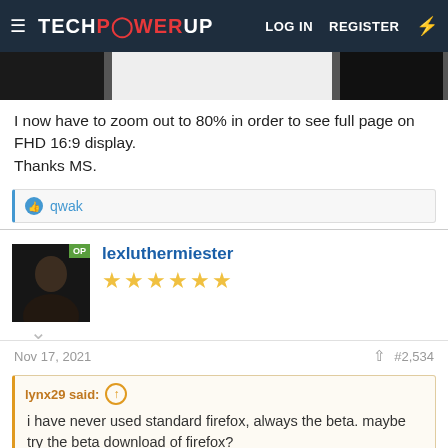TECHPOWERUP — LOG IN  REGISTER
[Figure (screenshot): Screenshot strip showing dark browser chrome with a white rectangle in the center]
I now have to zoom out to 80% in order to see full page on FHD 16:9 display.
Thanks MS.
👍 qwak
lexluthermiester
★★★★★★
Nov 17, 2021   #2,534
lynx29 said: ↑
i have never used standard firefox, always the beta. maybe try the beta download of firefox?
I'm completely opposite. Have never used the beta/nightly builds. When they started making the ESR's, I defaulted to